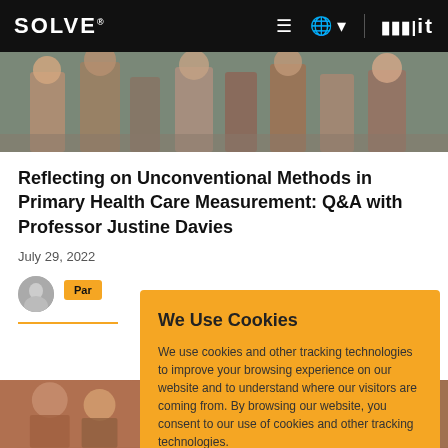SOLVE® [navigation: menu, globe, MIT]
[Figure (photo): Hero photo of people seated outdoors, appearing to be in a community health or fieldwork setting]
Reflecting on Unconventional Methods in Primary Health Care Measurement: Q&A with Professor Justine Davies
July 29, 2022
[Figure (photo): Small circular avatar photo of author]
Par
We Use Cookies
We use cookies and other tracking technologies to improve your browsing experience on our website and to understand where our visitors are coming from. By browsing our website, you consent to our use of cookies and other tracking technologies.
ACCEPT
REJECT
[Figure (photo): Bottom strip of photos showing community/field health workers]